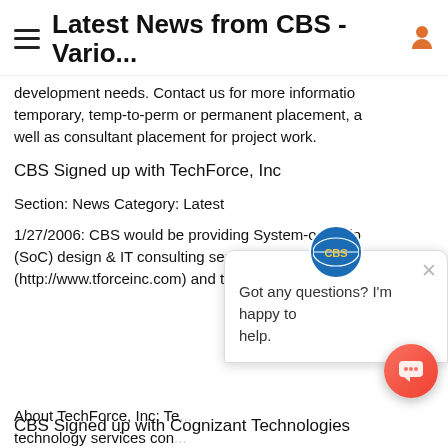Latest News from CBS - Vario...
development needs. Contact us for more information temporary, temp-to-perm or permanent placement, as well as consultant placement for project work.
CBS Signed up with TechForce, Inc
Section: News Category: Latest
1/27/2006: CBS would be providing System-on-Chip (SoC) design & IT consulting services to TechForce Inc (http://www.tforceinc.com) and their clients.
[Figure (screenshot): Chat widget popup with CBS logo, close button, and message: Got any questions? I'm happy to help.]
About TechForce, Inc: Te... technology services con... the leader in providing h... (SoC) design & IT consulting services.
CBS Signed up with Cognizant Technologies